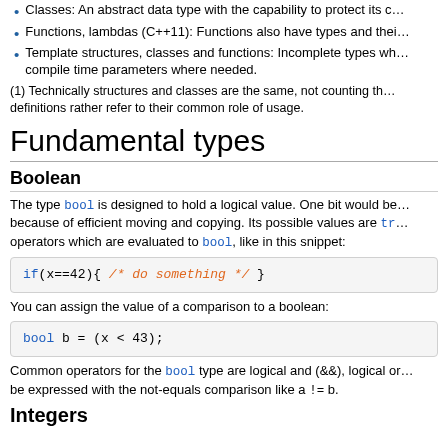Classes: An abstract data type with the capability to protect its …
Functions, lambdas (C++11): Functions also have types and thei…
Template structures, classes and functions: Incomplete types wh… compile time parameters where needed.
(1) Technically structures and classes are the same, not counting th… definitions rather refer to their common role of usage.
Fundamental types
Boolean
The type bool is designed to hold a logical value. One bit would be… because of efficient moving and copying. Its possible values are tr… operators which are evaluated to bool, like in this snippet:
[Figure (screenshot): Code snippet: if(x==42){ /* do something */ }]
You can assign the value of a comparison to a boolean:
[Figure (screenshot): Code snippet: bool b = (x < 43);]
Common operators for the bool type are logical and (&&), logical or… be expressed with the not-equals comparison like a != b.
Integers